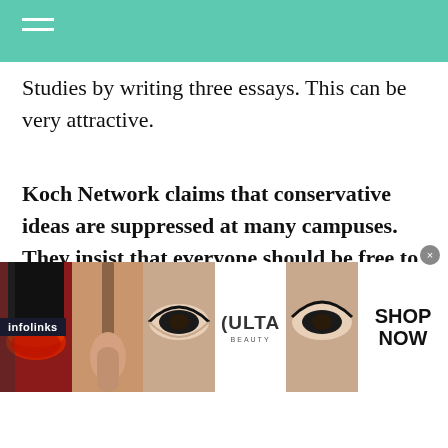Studies by writing three essays. This can be very attractive.
Koch Network claims that conservative ideas are suppressed at many campuses. They insist that everyone should be free to express their opinions, regardless of whether they offend or endanger people of color or the LGBTQIA community, women or Muslims, Jews, or progressives. ACLU and other
[Figure (screenshot): Infolinks advertisement banner showing makeup/beauty images with Ulta Beauty branding and 'SHOP NOW' call to action]